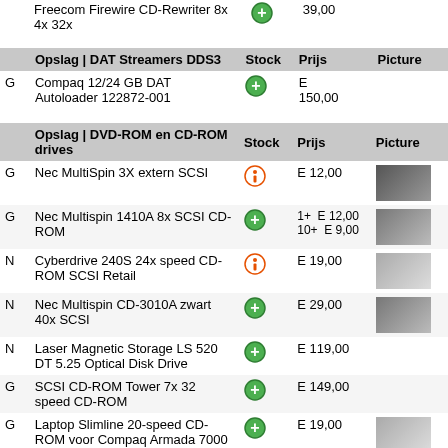|  | Opslag | DAT Streamers DDS3 | Stock | Prijs | Picture |
| --- | --- | --- | --- | --- |
| G | Compaq 12/24 GB DAT Autoloader 122872-001 | [in-stock] | E 150,00 |  |
|  | Opslag | DVD-ROM en CD-ROM drives | Stock | Prijs | Picture |
| --- | --- | --- | --- | --- |
| G | Nec MultiSpin 3X extern SCSI | [low-stock] | E 12,00 | [img] |
| G | Nec Multispin 1410A 8x SCSI CD-ROM | [in-stock] | 1+ E 12,00
10+ E 9,00 | [img] |
| N | Cyberdrive 240S 24x speed CD-ROM SCSI Retail | [low-stock] | E 19,00 | [img] |
| N | Nec Multispin CD-3010A zwart 40x SCSI | [in-stock] | E 29,00 | [img] |
| N | Laser Magnetic Storage LS 520 DT 5.25 Optical Disk Drive | [in-stock] | E 119,00 |  |
| G | SCSI CD-ROM Tower 7x 32 speed CD-ROM | [in-stock] | E 149,00 |  |
| G | Laptop Slimline 20-speed CD-ROM voor Compaq Armada 7000 | [in-stock] | E 19,00 | [img] |
| G | Compaq Multibay 20-speed CD-ROM voor EVO D500 UltraSlim | [in-stock] | E 19,00 | [img] |
| G | Freecom DVD Traveller Retail i.Link ... | [in-stock] | E 39,00 |  |